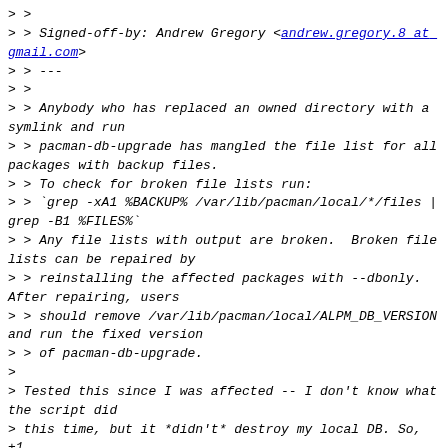> >
> > Signed-off-by: Andrew Gregory <andrew.gregory.8 at gmail.com>
> > ---
> >
> > Anybody who has replaced an owned directory with a symlink and run
> > pacman-db-upgrade has mangled the file list for all packages with backup files.
> > To check for broken file lists run:
> > `grep -xA1 %BACKUP% /var/lib/pacman/local/*/files | grep -B1 %FILES%`
> > Any file lists with output are broken.  Broken file lists can be repaired by
> > reinstalling the affected packages with --dbonly.  After repairing, users
> > should remove /var/lib/pacman/local/ALPM_DB_VERSION and run the fixed version
> > of pacman-db-upgrade.
>
> Tested this since I was affected -- I don't know what the script did
> this time, but it *didn't* destroy my local DB. So, +1.
>
> >  scripts/pacman-db-upgrade.sh.in | 8 ++++----
> >  1 file changed, 4 insertions(+), 4 deletions(-)
> >
> > diff --git a/scripts/pacman-db-upgrade.sh.in b/scripts/pacman-db-upgrade.sh.in